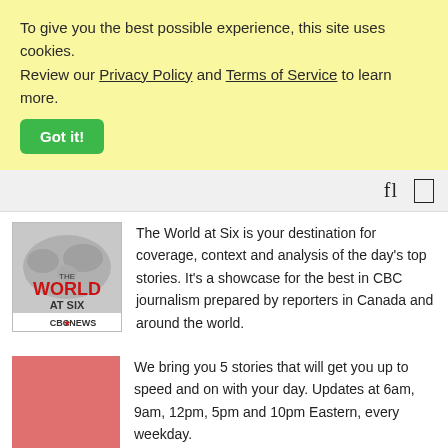To give you the best possible experience, this site uses cookies. Review our Privacy Policy and Terms of Service to learn more.
Got it!
[Figure (screenshot): Navigation bar with search and menu icons]
[Figure (logo): The World at Six - CBC News podcast logo]
The World at Six is your destination for coverage, context and analysis of the day's top stories. It's a showcase for the best in CBC journalism prepared by reporters in Canada and around the world.
[Figure (illustration): Pink/salmon colored square image placeholder]
We bring you 5 stories that will get you up to speed and on with your day. Updates at 6am, 9am, 12pm, 5pm and 10pm Eastern, every weekday.